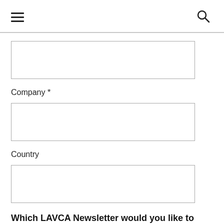[Figure (other): Empty form text input box]
Company *
[Figure (other): Empty form text input box for Company]
Country
[Figure (other): Empty form text input box for Country]
Which LAVCA Newsletter would you like to receive?